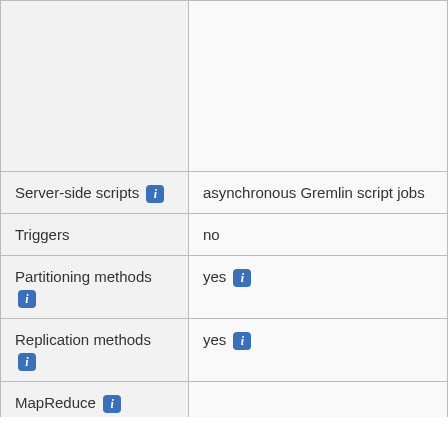| Feature | Details |
| --- | --- |
|  |  |
| Server-side scripts ⓘ | asynchronous Gremlin script jobs |
| Triggers | no |
| Partitioning methods ⓘ | yes ⓘ |
| Replication methods ⓘ | yes ⓘ |
| MapReduce ⓘ | (cut off) |